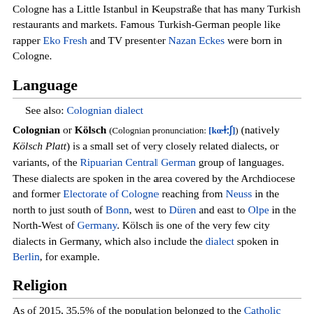Cologne has a Little Istanbul in Keupstraße that has many Turkish restaurants and markets. Famous Turkish-German people like rapper Eko Fresh and TV presenter Nazan Eckes were born in Cologne.
Language
See also: Colognian dialect
Colognian or Kölsch (Colognian pronunciation: [kœɫːʃ]) (natively Kölsch Platt) is a small set of very closely related dialects, or variants, of the Ripuarian Central German group of languages. These dialects are spoken in the area covered by the Archdiocese and former Electorate of Cologne reaching from Neuss in the north to just south of Bonn, west to Düren and east to Olpe in the North-West of Germany. Kölsch is one of the very few city dialects in Germany, which also include the dialect spoken in Berlin, for example.
Religion
As of 2015, 35.5% of the population belonged to the Catholic Church, the largest religious body, and 15.5% to the Evangelical Church.[48] Irenaeus of Lyons claimed that Christianity was